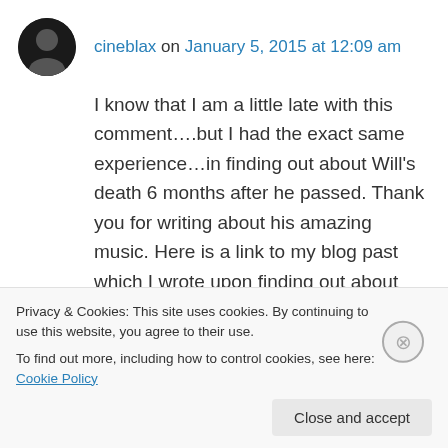cineblax on January 5, 2015 at 12:09 am
I know that I am a little late with this comment….but I had the exact same experience…in finding out about Will's death 6 months after he passed. Thank you for writing about his amazing music. Here is a link to my blog past which I wrote upon finding out about Will's deathj.
Billy (Jenny) Goornita
Privacy & Cookies: This site uses cookies. By continuing to use this website, you agree to their use.
To find out more, including how to control cookies, see here: Cookie Policy
Close and accept